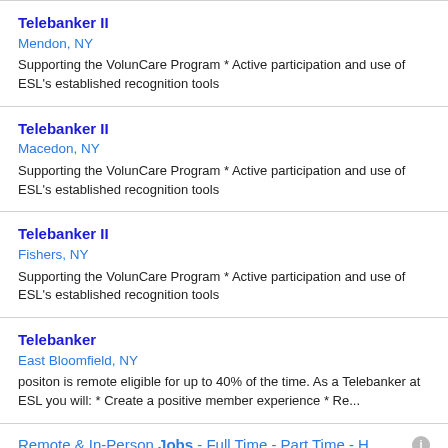Telebanker II
Mendon, NY
Supporting the VolunCare Program * Active participation and use of ESL's established recognition tools
Telebanker II
Macedon, NY
Supporting the VolunCare Program * Active participation and use of ESL's established recognition tools
Telebanker II
Fishers, NY
Supporting the VolunCare Program * Active participation and use of ESL's established recognition tools
Telebanker
East Bloomfield, NY
positon is remote eligible for up to 40% of the time. As a Telebanker at ESL you will: * Create a positive member experience * Re...
Remote & In-Person Jobs - Full Time - Part Time - H